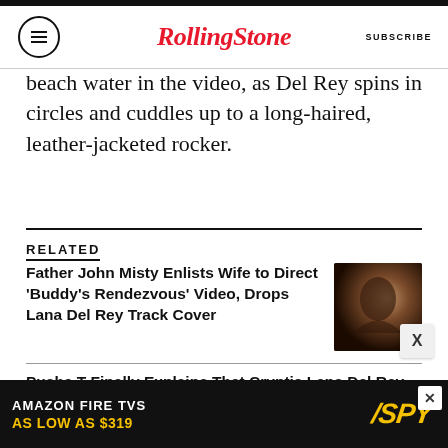Rolling Stone — SUBSCRIBE
beach water in the video, as Del Rey spins in circles and cuddles up to a long-haired, leather-jacketed rocker.
RELATED
Father John Misty Enlists Wife to Direct 'Buddy's Rendezvous' Video, Drops Lana Del Rey Track Cover
Pusha T Finally Explains That Cryptic Lana Del Rey Photo
Did the U.S. Army Post a Fake Lana Del Rey Quote to
[Figure (photo): Dark moody photo thumbnail for Father John Misty article]
[Figure (photo): Amazon Fire TVs advertisement — As Low As $319, SPY logo]